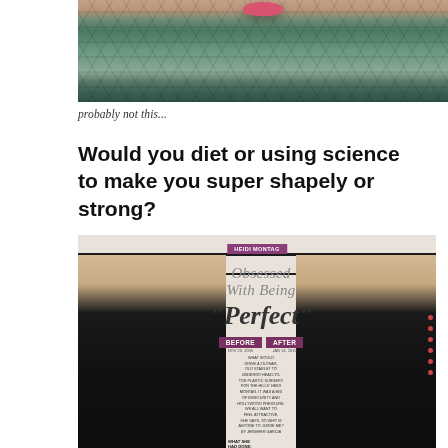[Figure (photo): Close-up photo of a person with heavy face tattoos covering neck and face, with teal/green reptile-scale pattern tattoos and pink lips visible at top]
probably not this...
Would you diet or using science to make you super shapely or strong?
[Figure (photo): Magazine spread showing Heidi Montag before and after plastic surgery, with headline 'Obsessed With Being "Perfect"' and before/after comparison of two photos side by side with text about what procedures she had done]